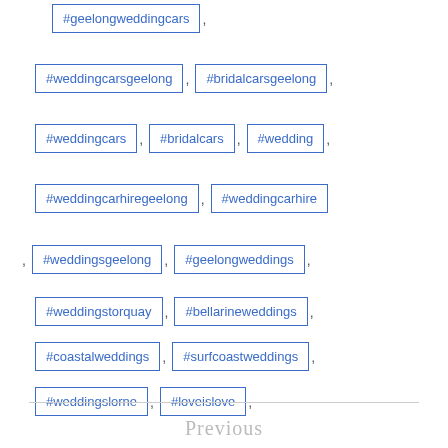#geelongweddingcars
#weddingcarsgeelong , #bridalcarsgeelong
#weddingcars , #bridalcars , #wedding
#weddingcarhiregeelong , #weddingcarhire
#weddingsgeelong , #geelongweddings
#weddingstorquay , #bellarineweddings
#coastalweddings , #surfcoastweddings
#weddingslorne , #loveislove
#weddingkombis , #kombihire
Previous